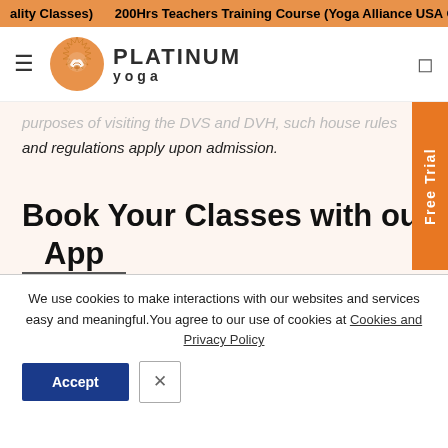ality Classes)   200Hrs Teachers Training Course (Yoga Alliance USA Certif
[Figure (logo): Platinum Yoga logo with circular sunburst emblem and brand name]
and regulations apply upon admission.
Book Your Classes with our Mob
App
We use cookies to make interactions with our websites and services easy and meaningful.You agree to our use of cookies at Cookies and Privacy Policy
Accept
Free Trial